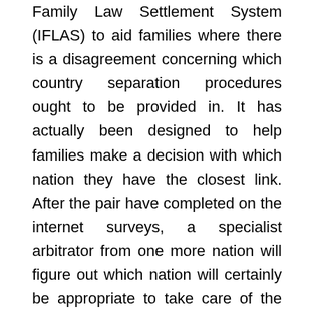Family Law Settlement System (IFLAS) to aid families where there is a disagreement concerning which country separation procedures ought to be provided in. It has actually been designed to help families make a decision with which nation they have the closest link. After the pair have completed on the internet surveys, a specialist arbitrator from one more nation will figure out which nation will certainly be appropriate to take care of the divorce.
Pairs in disagreement now can profit from having such a vast array of alternative disagreement resolutions